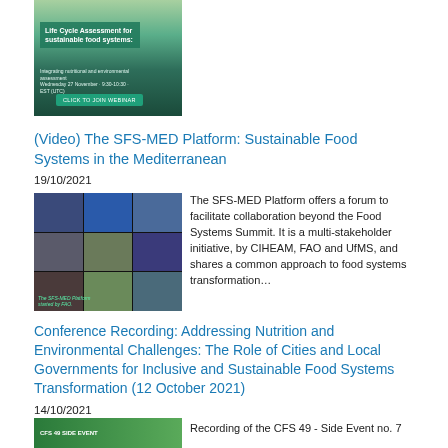[Figure (photo): Life Cycle Assessment for sustainable food systems webinar promotional banner with green background and text]
(Video) The SFS-MED Platform: Sustainable Food Systems in the Mediterranean
19/10/2021
[Figure (photo): Screenshot of a video call showing multiple participants in a grid layout, with text 'The SFS-MED Platform started by FAO']
The SFS-MED Platform offers a forum to facilitate collaboration beyond the Food Systems Summit. It is a multi-stakeholder initiative, by CIHEAM, FAO and UfMS, and shares a common approach to food systems transformation…
Conference Recording: Addressing Nutrition and Environmental Challenges: The Role of Cities and Local Governments for Inclusive and Sustainable Food Systems Transformation (12 October 2021)
14/10/2021
[Figure (photo): CFS 49 side event green banner]
Recording of the CFS 49 - Side Event no. 7